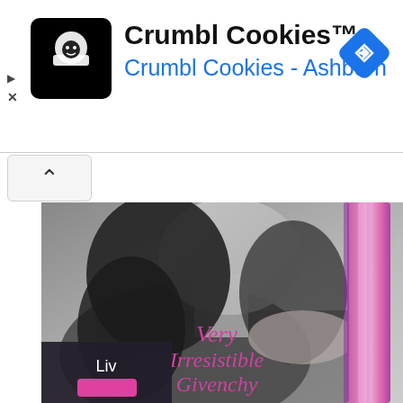[Figure (screenshot): Ad banner for Crumbl Cookies showing app icon logo (black rounded square with cookie chef icon), business name 'Crumbl Cookies™' in bold black, subtitle 'Crumbl Cookies - Ashburn' in blue, and a blue diamond navigation icon on the right. Play and close (X) icons on the left side.]
[Figure (photo): Advertisement photo for 'Very Irresistible Givenchy' perfume. Black and white photo of a dark-haired woman (Liv) with bare shoulder, looking slightly downward. On the right side is a tall, slender pink/magenta perfume bottle. Pink text overlay reads 'Very Irresistible Givenchy'. Bottom left has a dark overlay panel with the name 'Liv' in white text and a pink button below.]